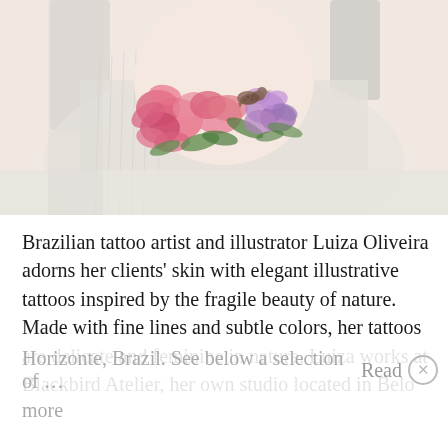[Figure (photo): Close-up photo of a person's upper torso/chest area wearing a white spaghetti-strap top, showing a delicate floral and bird tattoo on the sternum area. The tattoo features pink flowers and a small bird in soft colors.]
Brazilian tattoo artist and illustrator Luiza Oliveira adorns her clients' skin with elegant illustrative tattoos inspired by the fragile beauty of nature. Made with fine lines and subtle colors, her tattoos are delicate and feminine in nature. Luiza works at Blackbird Atelier, her own studio located in Belo Horizonte, Brazil. See below a selection of … Read more